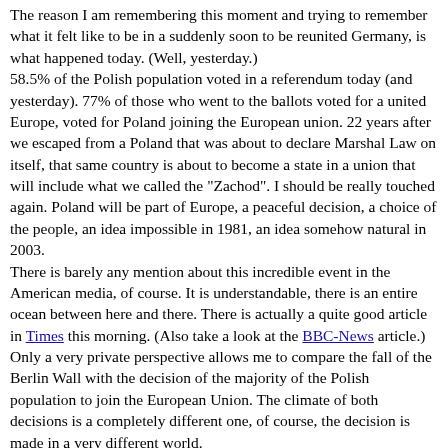The reason I am remembering this moment and trying to remember what it felt like to be in a suddenly soon to be reunited Germany, is what happened today. (Well, yesterday.) 58.5% of the Polish population voted in a referendum today (and yesterday). 77% of those who went to the ballots voted for a united Europe, voted for Poland joining the European union. 22 years after we escaped from a Poland that was about to declare Marshal Law on itself, that same country is about to become a state in a union that will include what we called the "Zachod". I should be really touched again. Poland will be part of Europe, a peaceful decision, a choice of the people, an idea impossible in 1981, an idea somehow natural in 2003. There is barely any mention about this incredible event in the American media, of course. It is understandable, there is an entire ocean between here and there. There is actually a quite good article in Times this morning. (Also take a look at the BBC-News article.) Only a very private perspective allows me to compare the fall of the Berlin Wall with the decision of the majority of the Polish population to join the European Union. The climate of both decisions is a completely different one, of course, the decision is made in a very different world. Hmm, a very personal, very private comparison of both events... I guess they are both gigantic steps towards a more open world... does this make me compare them?... Btw. If you do not know what happened on December 13th 1981, check the entry in this blog. Yes, there is one.